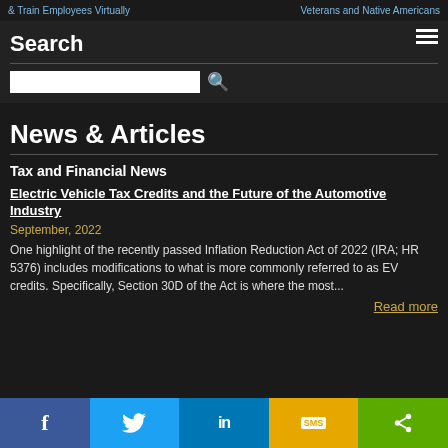& Train Employees Virtually | Veterans and Native Americans
Search
News & Articles
Tax and Financial News
Electric Vehicle Tax Credits and the Future of the Automotive Industry
September, 2022
One highlight of the recently passed Inflation Reduction Act of 2022 (IRA; HR 5376) includes modifications to what is more commonly referred to as EV credits. Specifically, Section 30D of the Act is where the most...
Read more
Facebook Twitter LinkedIn SMS Share